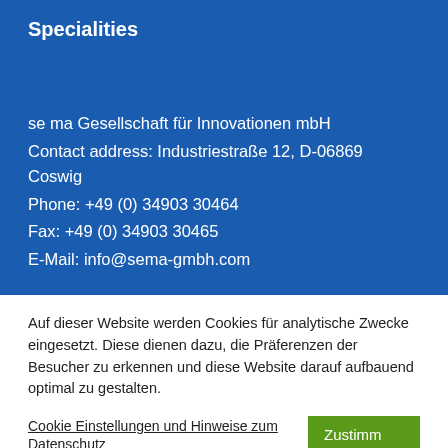Specialities
se ma Gesellschaft für Innovationen mbH
Contact address: Industriestraße 12, D-06869 Coswig
Phone: +49 (0) 34903 30464
Fax: +49 (0) 34903 30465
E-Mail: info@sema-gmbh.com
Auf dieser Website werden Cookies für analytische Zwecke eingesetzt. Diese dienen dazu, die Präferenzen der Besucher zu erkennen und diese Website darauf aufbauend optimal zu gestalten.
Cookie Einstellungen und Hinweise zum Datenschutz
Zustimm